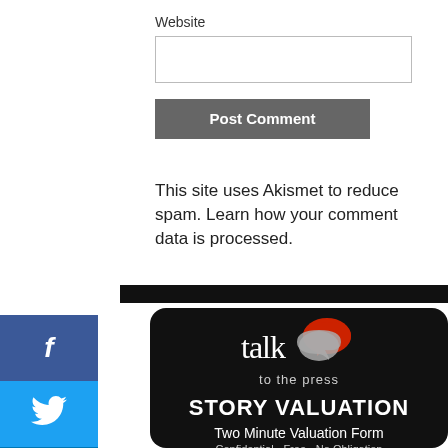Website
Post Comment
This site uses Akismet to reduce spam. Learn how your comment data is processed.
[Figure (logo): Talk to the Press Story Valuation advertisement block with logo featuring speech bubbles, bold 'STORY VALUATION' heading, 'Two Minute Valuation Form', and 'Confidential - Free - No Obligation' text on black background]
[Figure (infographic): Social media sidebar with Facebook, Twitter, LinkedIn, Pinterest, and Reddit icon buttons in their brand colors]